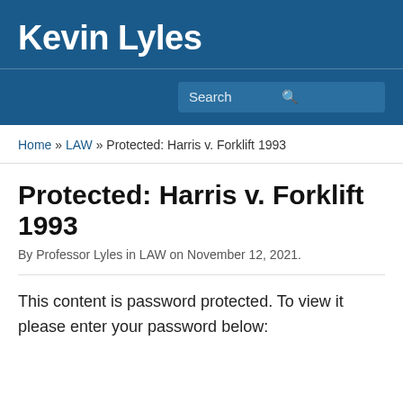Kevin Lyles
Search
Home » LAW » Protected: Harris v. Forklift 1993
Protected: Harris v. Forklift 1993
By Professor Lyles in LAW on November 12, 2021.
This content is password protected. To view it please enter your password below: